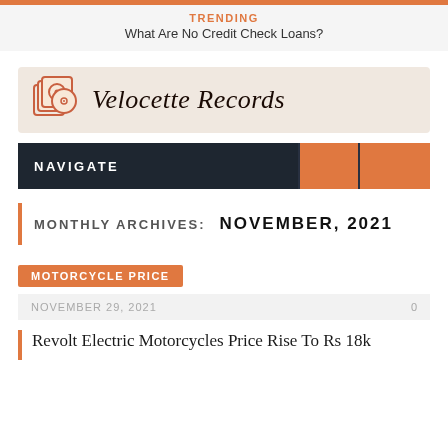TRENDING
What Are No Credit Check Loans?
[Figure (logo): Velocette Records logo with record/disc icon and italic serif text]
NAVIGATE
MONTHLY ARCHIVES: NOVEMBER, 2021
MOTORCYCLE PRICE
NOVEMBER 29, 2021  0
Revolt Electric Motorcycles Price Rise To Rs 18k